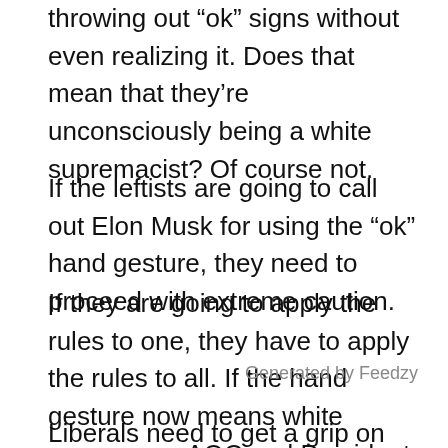throwing out “ok” signs without even realizing it. Does that mean that they’re unconsciously being a white supremacist? Of course not.
If the leftists are going to call out Elon Musk for using the “ok” hand gesture, they need to proceed with extreme caution.
If they are going to apply the rules to one, they have to apply the rules to all. If the hand gesture now means white supremacy, AOC and President Biden have both been guilty of using the same gesture. Should they, too, die in a fire?
Generated by Feedzy
Liberals need to get a grip on themselves and